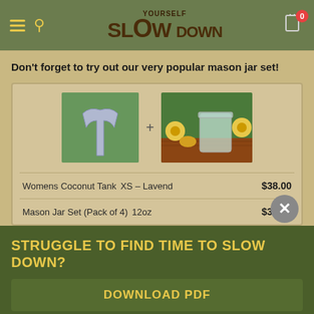Slow Yourself Down - navigation header with logo, hamburger menu, search, and cart (0 items)
Don't forget to try out our very popular mason jar set!
[Figure (photo): Bundle product display showing a lavender women's coconut tank top and a mason jar set with yellow flowers on a wood background, connected by a plus sign]
| Product | Variant | Price |
| --- | --- | --- |
| Womens Coconut Tank | XS - Lavend | $38.00 |
| Mason Jar Set (Pack of 4) | 12oz | $32.00 |
STRUGGLE TO FIND TIME TO SLOW DOWN?
DOWNLOAD PDF